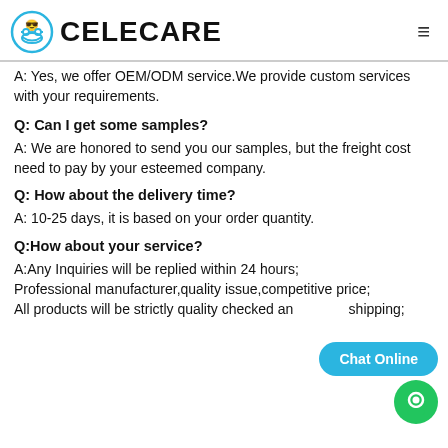CELECARE
A: Yes, we offer OEM/ODM service.We provide custom services with your requirements.
Q: Can I get some samples?
A: We are honored to send you our samples, but the freight cost need to pay by your esteemed company.
Q: How about the delivery time?
A: 10-25 days, it is based on your order quantity.
Q:How about your service?
A:Any Inquiries will be replied within 24 hours;
Professional manufacturer,quality issue,competitive price;
All products will be strictly quality checked and shipping;